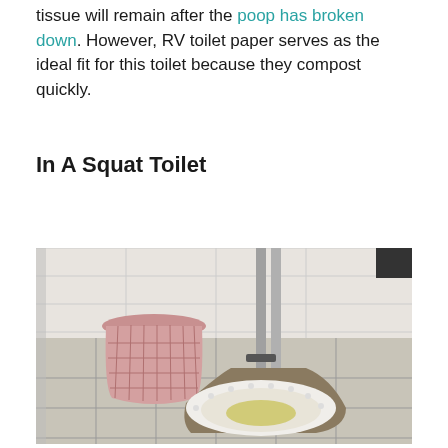tissue will remain after the poop has broken down. However, RV toilet paper serves as the ideal fit for this toilet because they compost quickly.
In A Squat Toilet
[Figure (photo): A squat toilet set into a tiled floor. A pink plastic waste basket sits to the left. Metal pipes are visible in the background against white tiled walls. The squat toilet bowl is white with a decorative rim, embedded flush with the tile.]